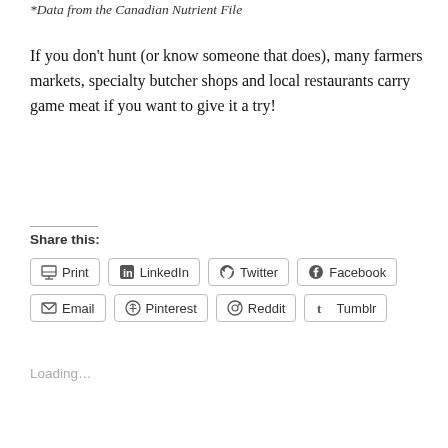*Data from the Canadian Nutrient File
If you don't hunt (or know someone that does), many farmers markets, specialty butcher shops and local restaurants carry game meat if you want to give it a try!
Share this:
Print  LinkedIn  Twitter  Facebook  Email  Pinterest  Reddit  Tumblr
Loading...